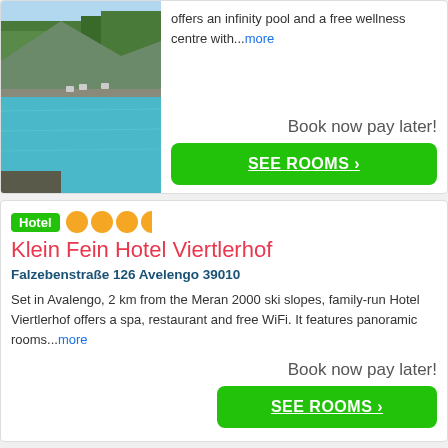[Figure (photo): Infinity pool surrounded by trees and mountains]
offers an infinity pool and a free wellness centre with...more
Book now pay later!
SEE ROOMS ›
Hotel ●●●◐ Klein Fein Hotel Viertlerhof
Falzebenstraße 126 Avelengo 39010
Set in Avalengo, 2 km from the Meran 2000 ski slopes, family-run Hotel Viertlerhof offers a spa, restaurant and free WiFi. It features panoramic rooms...more
Book now pay later!
SEE ROOMS ›